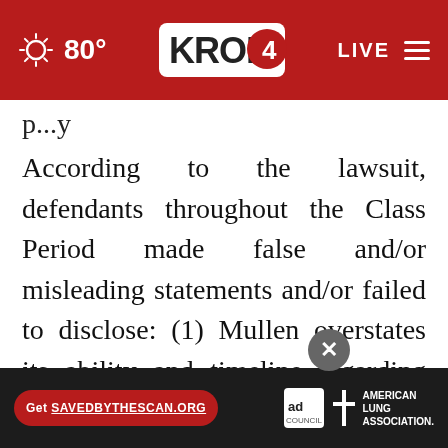80° KRON4 LIVE
p...y
According to the lawsuit, defendants throughout the Class Period made false and/or misleading statements and/or failed to disclose: (1) Mullen overstates its ability and timeline regarding production; (2) Mullen overstates its deals with business partners, including Qiantu Motors; (3) Mullen overstates its battery technology and capabilities; (4) Mullen overstates its ability to sell its intended products...conduct
[Figure (screenshot): Ad banner: Get SAVEDBYTHESCAN.ORG button, Ad Council logo, American Lung Association logo]